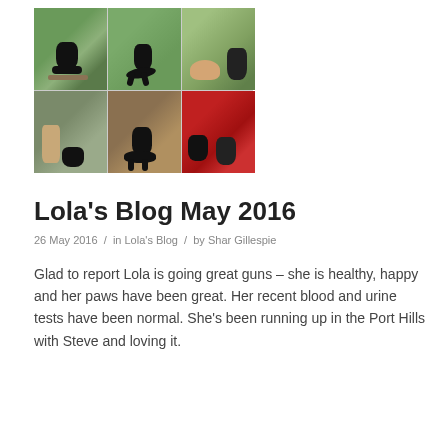[Figure (photo): A 2x3 collage of six photos showing a black dog (Lola) in various outdoor settings: on a bench near water, running on grass, with a woman and a puppy, with a woman owner walking, standing on a path, and with another dog near red flowers.]
Lola's Blog May 2016
26 May 2016 / in Lola's Blog / by Shar Gillespie
Glad to report Lola is going great guns – she is healthy, happy and her paws have been great. Her recent blood and urine tests have been normal. She's been running up in the Port Hills with Steve and loving it.